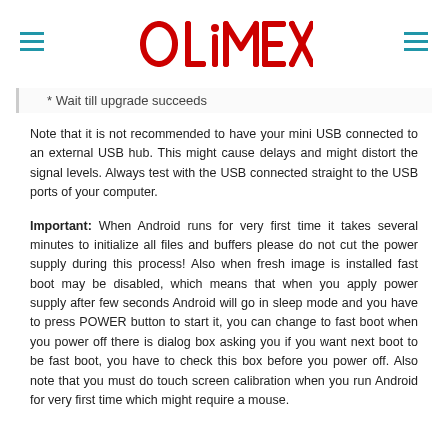OLIMEX (logo)
* Wait till upgrade succeeds
Note that it is not recommended to have your mini USB connected to an external USB hub. This might cause delays and might distort the signal levels. Always test with the USB connected straight to the USB ports of your computer.
Important: When Android runs for very first time it takes several minutes to initialize all files and buffers please do not cut the power supply during this process! Also when fresh image is installed fast boot may be disabled, which means that when you apply power supply after few seconds Android will go in sleep mode and you have to press POWER button to start it, you can change to fast boot when you power off there is dialog box asking you if you want next boot to be fast boot, you have to check this box before you power off. Also note that you must do touch screen calibration when you run Android for very first time which might require a mouse.